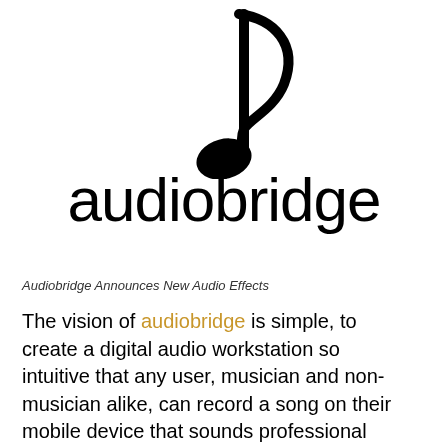[Figure (logo): Audiobridge logo: a stylized music note above the word 'audiobridge' in large lowercase sans-serif black text]
Audiobridge Announces New Audio Effects
The vision of audiobridge is simple, to create a digital audio workstation so intuitive that any user, musician and non-musician alike, can record a song on their mobile device that sounds professional grade, without the assistance of an engineer.